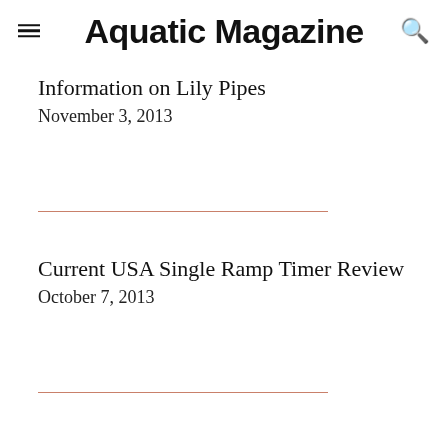Aquatic Magazine
Information on Lily Pipes
November 3, 2013
Current USA Single Ramp Timer Review
October 7, 2013